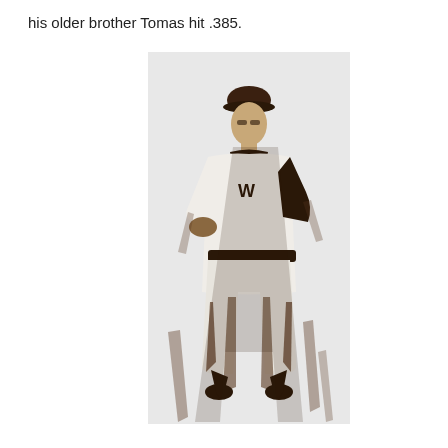his older brother Tomas hit .385.
[Figure (illustration): A black-and-white illustration or high-contrast photographic reproduction of a baseball player in a uniform with a 'W' on the chest, standing in a posed position with one hand on hip, wearing a cap.]